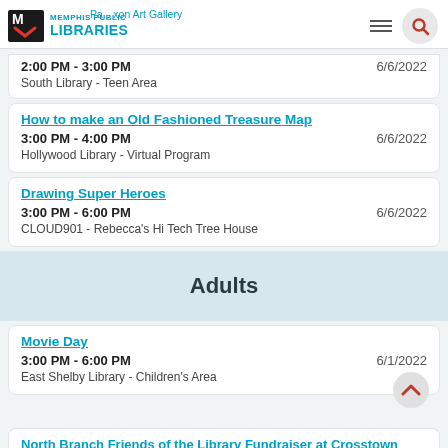Memphis Public Libraries - Pa...xon Art Gallery
How to make an Old Fashioned Treasure Map | 3:00 PM - 4:00 PM | 6/6/2022 | Hollywood Library - Virtual Program
Drawing Super Heroes | 3:00 PM - 6:00 PM | 6/6/2022 | CLOUD901 - Rebecca's Hi Tech Tree House
Adults
Movie Day | 3:00 PM - 6:00 PM | 6/1/2022 | East Shelby Library - Children's Area
North Branch Friends of the Library Fundraiser at Crosstown